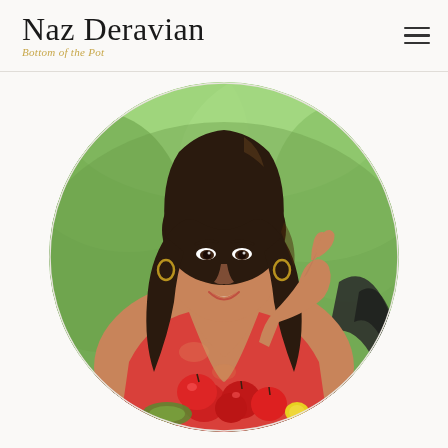Naz Deravian — Bottom of the Pot
[Figure (photo): Circular portrait photo of Naz Deravian, a woman with long dark wavy hair, smiling, wearing a red top, resting her chin on her hand, seated at an outdoor table with red apples and greenery in the background.]